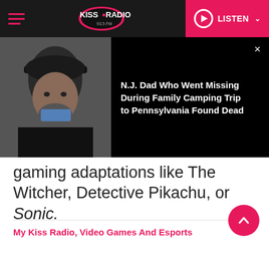KISS RADIO 93.5 FM — LISTEN
[Figure (photo): Man wearing dark cap and black shirt, with mouth covered, overlaid with a news popup headline about a missing NJ dad]
N.J. Dad Who Went Missing During Family Camping Trip to Pennsylvania Found Dead
gaming adaptations like The Witcher, Detective Pikachu, or Sonic.
My Kiss Radio, Video Games And Esports